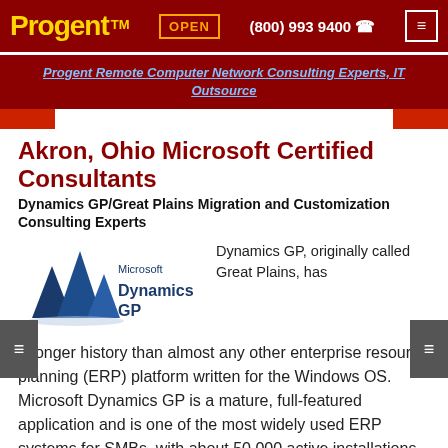Progent™  OPEN  (800) 993 9400  ☎
Progent Remote Computer Network Consulting Experts, IT Outsource
Akron, Ohio Microsoft Certified Consultants
Dynamics GP/Great Plains Migration and Customization Consulting Experts
[Figure (logo): Microsoft Dynamics GP logo with blue sail/mountain icon and text]
Dynamics GP, originally called Great Plains, has a longer history than almost any other enterprise resource planning (ERP) platform written for the Windows OS. Microsoft Dynamics GP is a mature, full-featured application and is one of the most widely used ERP systems for SMBs, with about 50,000 active installations globally. A number of